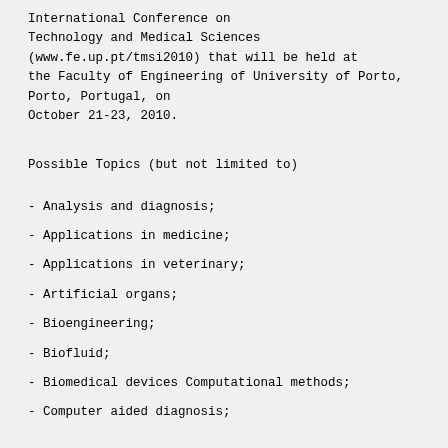International Conference on
Technology and Medical Sciences
(www.fe.up.pt/tmsi2010) that will be held at
the Faculty of Engineering of University of Porto,
Porto, Portugal, on
October 21-23, 2010.
Possible Topics (but not limited to)
- Analysis and diagnosis;
- Applications in medicine;
- Applications in veterinary;
- Artificial organs;
- Bioengineering;
- Biofluid;
- Biomedical devices Computational methods;
- Computer aided diagnosis;